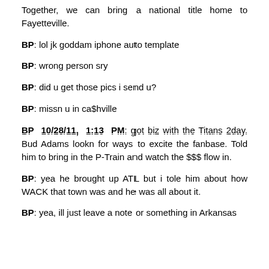Together, we can bring a national title home to Fayetteville.
BP: lol jk goddam iphone auto template
BP: wrong person sry
BP: did u get those pics i send u?
BP: missn u in ca$hville
BP 10/28/11, 1:13 PM: got biz with the Titans 2day. Bud Adams lookn for ways to excite the fanbase. Told him to bring in the P-Train and watch the $$$ flow in.
BP: yea he brought up ATL but i tole him about how WACK that town was and he was all about it.
BP: yea, ill just leave a note or something in Arkansas